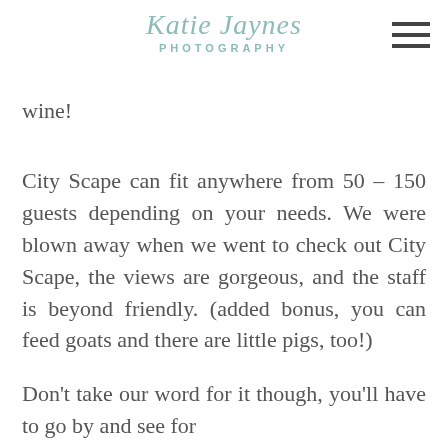Katie Jaynes Photography
wine!
City Scape can fit anywhere from 50 – 150 guests depending on your needs. We were blown away when we went to check out City Scape, the views are gorgeous, and the staff is beyond friendly. (added bonus, you can feed goats and there are little pigs, too!)
Don't take our word for it though, you'll have to go by and see for